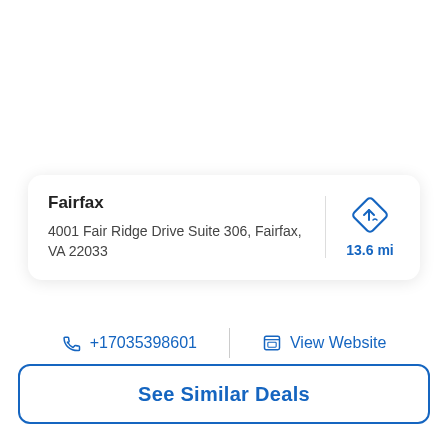Fairfax
4001 Fair Ridge Drive Suite 306, Fairfax, VA 22033
13.6 mi
+17035398601
View Website
See Similar Deals